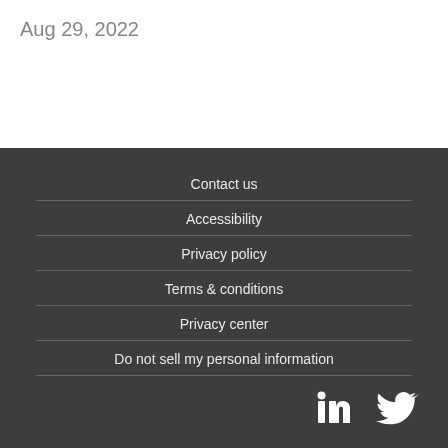Aug 29, 2022
Contact us
Accessibility
Privacy policy
Terms & conditions
Privacy center
Do not sell my personal information
[Figure (illustration): LinkedIn and Twitter social media icons in white]